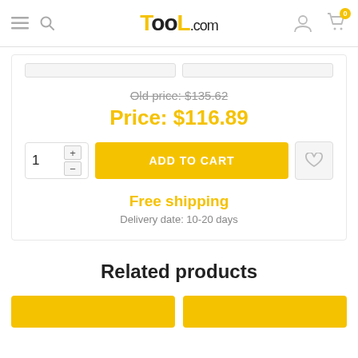Tool.com
Old price: $135.62
Price: $116.89
ADD TO CART
Free shipping
Delivery date: 10-20 days
Related products